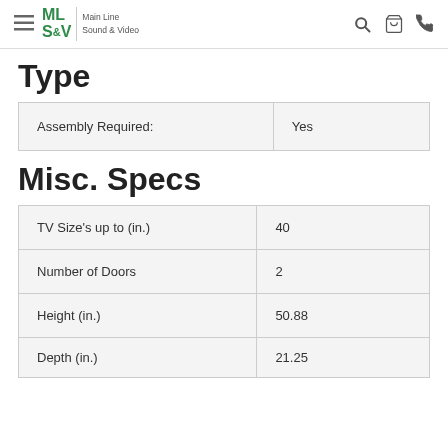ML S&V | Main Line Sound & Video
Type
| Assembly Required: | Yes |
Misc. Specs
| TV Size's up to (in.) | 40 |
| Number of Doors | 2 |
| Height (in.) | 50.88 |
| Depth (in.) | 21.25 |